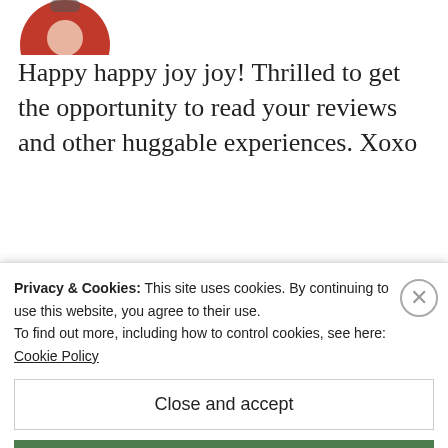[Figure (photo): Circular avatar of a person wearing red, partially cropped at top of page]
Happy happy joy joy! Thrilled to get the opportunity to read your reviews and other huggable experiences. Xoxo
★ Like
REPLY
[Figure (photo): Circular avatar photo of a man smiling, dark hair, Drew (The Wine Wankers)]
Drew (The Wine Wankers)
Privacy & Cookies: This site uses cookies. By continuing to use this website, you agree to their use.
To find out more, including how to control cookies, see here: Cookie Policy
Close and accept